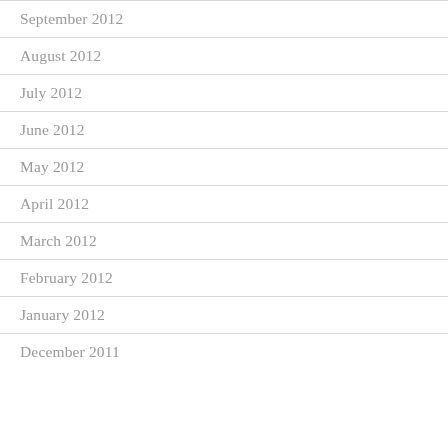September 2012
August 2012
July 2012
June 2012
May 2012
April 2012
March 2012
February 2012
January 2012
December 2011